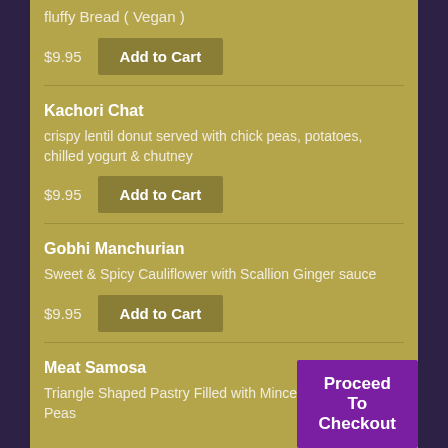fluffy Bread ( Vegan )
$9.95 Add to Cart
Kachori Chat
crispy lentil donut served with chick peas, potatoes, chilled yogurt & chutney
$9.95 Add to Cart
Gobhi Manchurian
Sweet & Spicy Cauliflower with Scallion Ginger sauce
$9.95 Add to Cart
Meat Samosa
Triangle Shaped Pastry Filled with Minced Lamb & Green Peas
Proceed To Checkout